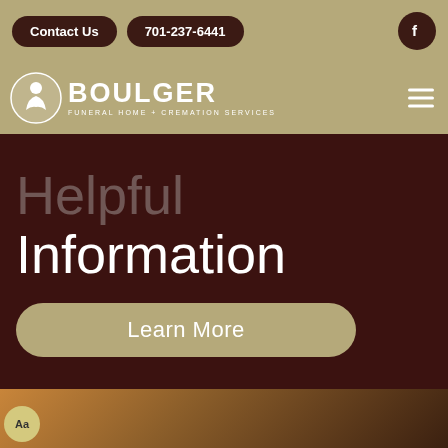Contact Us | 701-237-6441 | Facebook
[Figure (logo): Boulger Funeral Home + Cremation Services logo with circular emblem]
Helpful Information
Learn More
[Figure (photo): Bottom strip showing person in orange/brown fabric, with Aa accessibility badge]